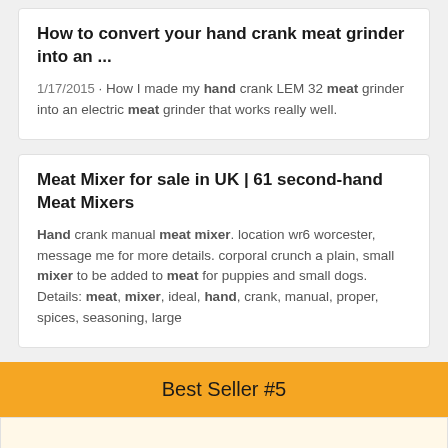How to convert your hand crank meat grinder into an ...
1/17/2015 · How I made my hand crank LEM 32 meat grinder into an electric meat grinder that works really well.
Meat Mixer for sale in UK | 61 second-hand Meat Mixers
Hand crank manual meat mixer. location wr6 worcester, message me for more details. corporal crunch a plain, small mixer to be added to meat for puppies and small dogs. Details: meat, mixer, ideal, hand, crank, manual, proper, spices, seasoning, large
Best Seller #5